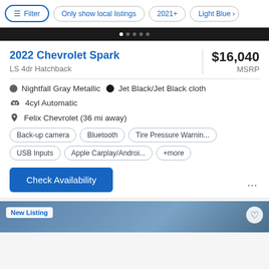Filter | Only show local listings | 2021+ | Light Blue
2022 Chevrolet Spark
LS 4dr Hatchback
$16,040 MSRP
Nightfall Gray Metallic · Jet Black/Jet Black cloth
4cyl Automatic
Felix Chevrolet (36 mi away)
Back-up camera
Bluetooth
Tire Pressure Warnin...
USB Inputs
Apple Carplay/Androi...
+more
Check Availability
New Listing